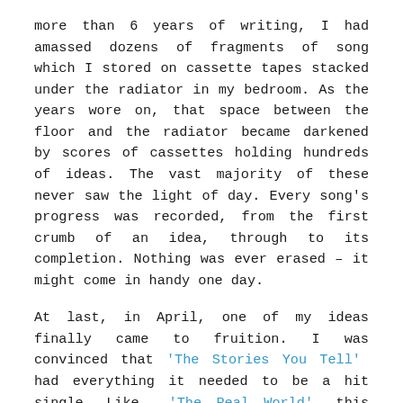more than 6 years of writing, I had amassed dozens of fragments of song which I stored on cassette tapes stacked under the radiator in my bedroom. As the years wore on, that space between the floor and the radiator became darkened by scores of cassettes holding hundreds of ideas. The vast majority of these never saw the light of day. Every song's progress was recorded, from the first crumb of an idea, through to its completion. Nothing was ever erased – it might come in handy one day.
At last, in April, one of my ideas finally came to fruition. I was convinced that 'The Stories You Tell' had everything it needed to be a hit single. Like 'The Real World', this song was about Britain's desperately high unemployment levels and the feeling of hopelessness this brought to entire communities. The words of the verses were so surreal, though, that nobody but me would ever have understood what I was going on about. I was never happy with them, but I'd been struggling to